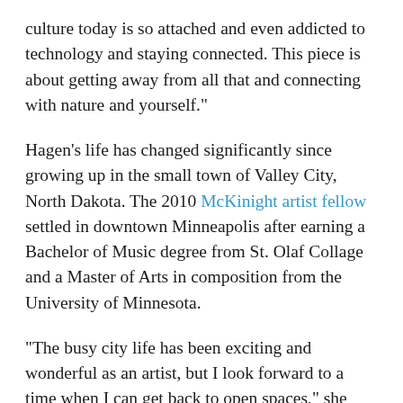culture today is so attached and even addicted to technology and staying connected. This piece is about getting away from all that and connecting with nature and yourself."
Hagen's life has changed significantly since growing up in the small town of Valley City, North Dakota. The 2010 McKinight artist fellow settled in downtown Minneapolis after earning a Bachelor of Music degree from St. Olaf Collage and a Master of Arts in composition from the University of Minnesota.
"The busy city life has been exciting and wonderful as an artist, but I look forward to a time when I can get back to open spaces," she adds. "I find that as an artist I have to turn everything off, step away from my desk and take long walks, play with my kids and exercise. These are the